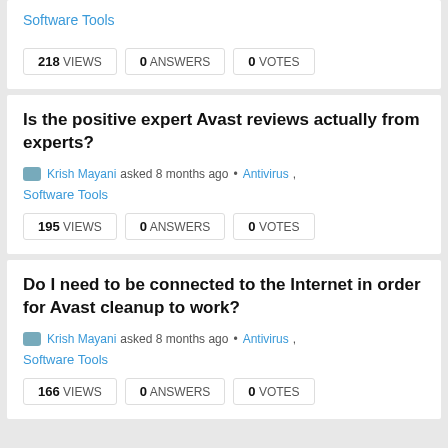Software Tools
| VIEWS | ANSWERS | VOTES |
| --- | --- | --- |
| 218 | 0 | 0 |
Is the positive expert Avast reviews actually from experts?
Krish Mayani asked 8 months ago • Antivirus , Software Tools
| VIEWS | ANSWERS | VOTES |
| --- | --- | --- |
| 195 | 0 | 0 |
Do I need to be connected to the Internet in order for Avast cleanup to work?
Krish Mayani asked 8 months ago • Antivirus , Software Tools
| VIEWS | ANSWERS | VOTES |
| --- | --- | --- |
| 166 | 0 | 0 |